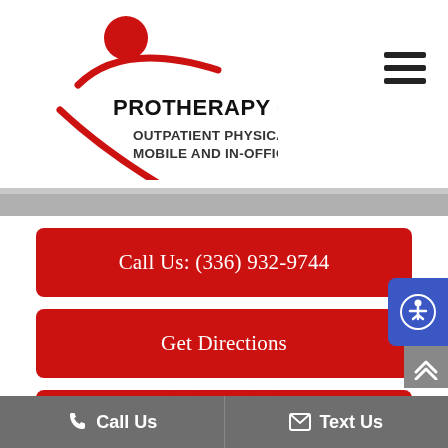[Figure (logo): ProTherapy Concepts Inc logo with red circle and swoosh figure, company name and tagline]
PROTHERAPY CONCEPTS, INC
OUTPATIENT PHYSICAL THERAPY MOBILE AND IN-OFFICE
Call Us: (336) 932-9744
Get Directions
Request an Appointment
Call Us   Text Us